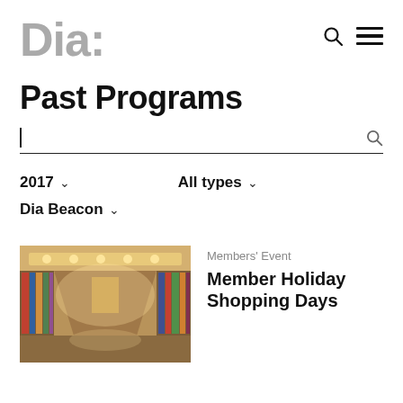Dia:
Past Programs
[Search input field]
2017 ∨   All types ∨
Dia Beacon ∨
Members' Event
Member Holiday Shopping Days